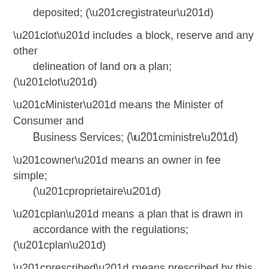deposited; (“registrateur”)
“lot” includes a block, reserve and any other delineation of land on a plan; (“lot”)
“Minister” means the Minister of Consumer and Business Services; (“ministre”)
“owner” means an owner in fee simple; (“proprietaire”)
“plan” means a plan that is drawn in accordance with the regulations; (“plan”)
“prescribed” means prescribed by this Act or by the regulations; (“prescrit”)
“property” means land designated as a property under subsection 141 (2) or (4); (“unite fonciere”)